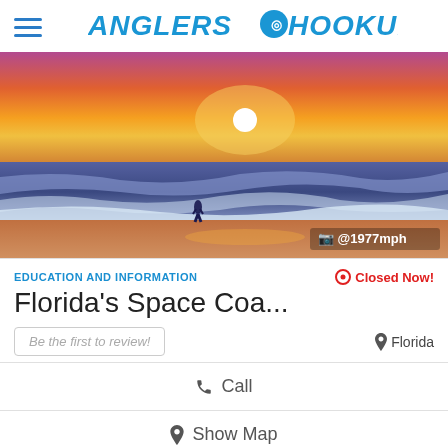ANGLERS HOOKUP
[Figure (photo): Sunset beach scene with a person standing in the ocean waves, vivid orange and purple sky, with Instagram watermark @1977mph]
EDUCATION AND INFORMATION
Closed Now!
Florida's Space Coa...
Be the first to review!
Florida
Call
Show Map